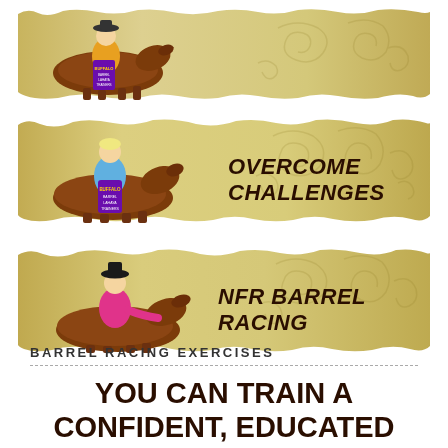[Figure (illustration): Banner with horse and rider doing barrel racing, torn parchment style background — first banner (no visible text label)]
[Figure (illustration): Banner with horse and rider doing barrel racing and text OVERCOME CHALLENGES on torn parchment style background]
[Figure (illustration): Banner with horse and rider in pink shirt doing barrel racing and text NFR BARREL RACING on torn parchment style background]
BARREL RACING EXERCISES
YOU CAN TRAIN A CONFIDENT, EDUCATED